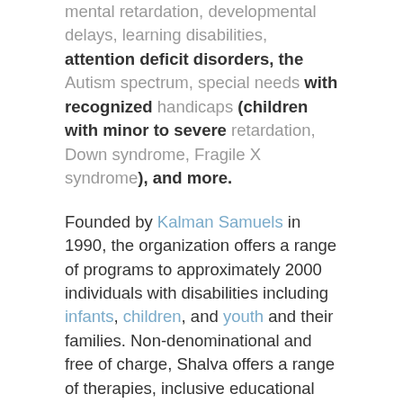mental retardation, developmental delays, learning disabilities, attention deficit disorders, the Autism spectrum, special needs with recognized handicaps (children with minor to severe retardation, Down syndrome, Fragile X syndrome), and more.

Founded by Kalman Samuels in 1990, the organization offers a range of programs to approximately 2000 individuals with disabilities including infants, children, and youth and their families. Non-denominational and free of charge, Shalva offers a range of therapies, inclusive educational frameworks, recreational programs, vocational training, respite and family support. Shalva advocates for the inclusion of persons with disabilities through employment programs, community initiatives, and disability research. Shalva collaborates with communities worldwide as well as government, academic, and cultural institutions to pioneer innovative therapy solutions around the common goal of improving the lives of people with disabilities and promoting their inclusion in society. The organization is supported by a wide network of volunteers from the broader community as well as National